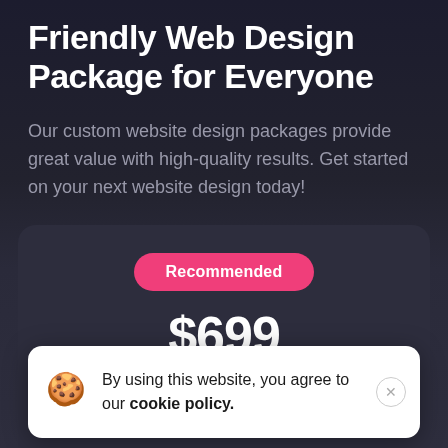Friendly Web Design Package for Everyone
Our custom website design packages provide great value with high-quality results. Get started on your next website design today!
Recommended
$699
By using this website, you agree to our cookie policy.